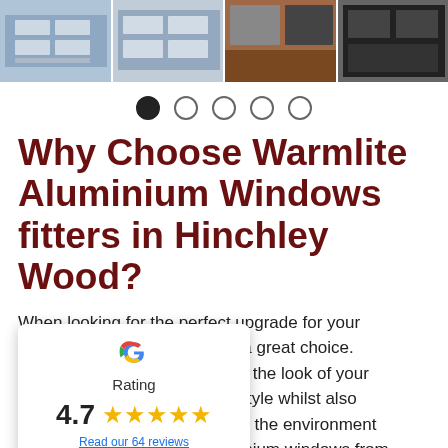[Figure (photo): Strip of four photos showing aluminium windows fitted on buildings]
[Figure (infographic): Carousel dot indicators: one filled black dot followed by four empty circle dots]
Why Choose Warmlite Aluminium Windows fitters in Hinchley Wood?
When looking for the perfect upgrade for your home, aluminium windows are a great choice. They are great at complementing the look of your home, adding a touch of style whilst also protecting you from both the environment and intruders. Aluminium windows from Warmlite offer...
[Figure (infographic): Google rating card showing G logo, Rating label, 4.7 score with 5 gold stars, and a link reading 'Read our 64 reviews']